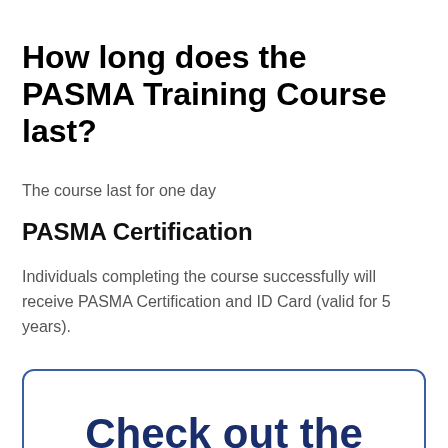How long does the PASMA Training Course last?
The course last for one day
PASMA Certification
Individuals completing the course successfully will receive PASMA Certification and ID Card (valid for 5 years).
Check out the dates below for